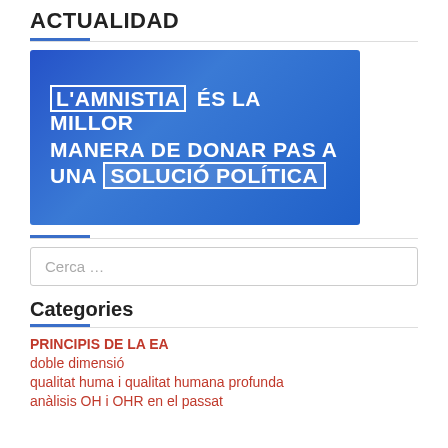ACTUALIDAD
[Figure (illustration): Blue banner image with white bold text in Catalan: L'AMNISTIA (boxed) ÉS LA MILLOR MANERA DE DONAR PAS A UNA SOLUCIÓ POLÍTICA (boxed)]
Cerca …
Categories
PRINCIPIS DE LA EA
doble dimensió
qualitat huma i qualitat humana profunda
anàlisis OH i OHR en el passat